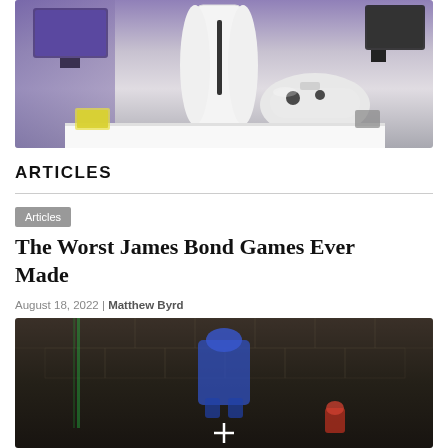[Figure (photo): Photo of a PlayStation 5 console and controller displayed in a store setting with screens in the background]
ARTICLES
Articles
The Worst James Bond Games Ever Made
August 18, 2022 | Matthew Byrd
[Figure (screenshot): Screenshot of a dark, retro-style James Bond video game with a crosshair visible]